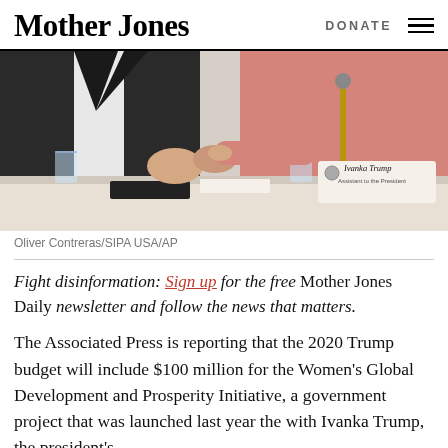Mother Jones | DONATE
[Figure (photo): Two people seated at a conference table; a woman in a pink blazer reaches toward a man in a dark suit with a blue tie. A nameplate reading 'Ivanka Trump, Assistant to the President' is visible in the foreground.]
Oliver Contreras/SIPA USA/AP
Fight disinformation: Sign up for the free Mother Jones Daily newsletter and follow the news that matters.
The Associated Press is reporting that the 2020 Trump budget will include $100 million for the Women's Global Development and Prosperity Initiative, a government project that was launched last year the with Ivanka Trump, the president's